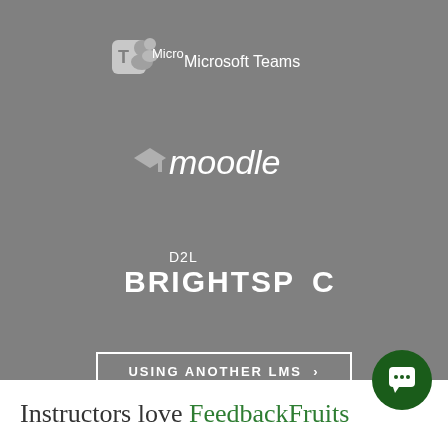[Figure (logo): Microsoft Teams logo with icon and text]
[Figure (logo): Moodle logo in white text with graduation cap icon]
[Figure (logo): D2L Brightspace logo in white text]
USING ANOTHER LMS >
[Figure (other): Green circular chat bubble button in bottom-right corner]
Instructors love FeedbackFruits